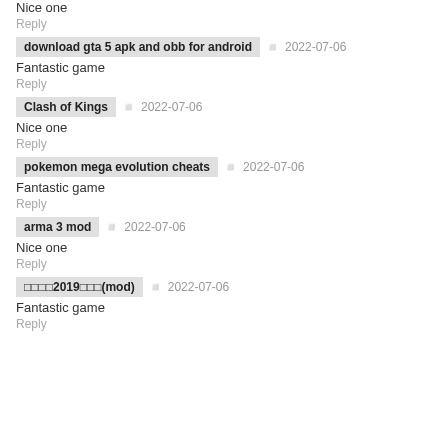Nice one
Reply
download gta 5 apk and obb for android   2022-07-06
Fantastic game
Reply
Clash of Kings   2022-07-06
Nice one
Reply
pokemon mega evolution cheats   2022-07-06
Fantastic game
Reply
arma 3 mod   2022-07-06
Nice one
Reply
■■■■2019■■■(mod)   2022-07-06
Fantastic game
Reply